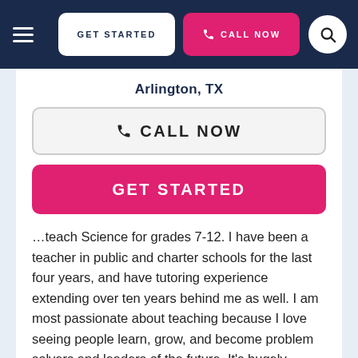GET STARTED  CALL NOW
Arlington, TX
CALL NOW
GET STARTED
…teach Science for grades 7-12. I have been a teacher in public and charter schools for the last four years, and have tutoring experience extending over ten years behind me as well. I am most passionate about teaching because I love seeing people learn, grow, and become problem solvers and leaders of the future. It's hugely rewarding for me whenever someone